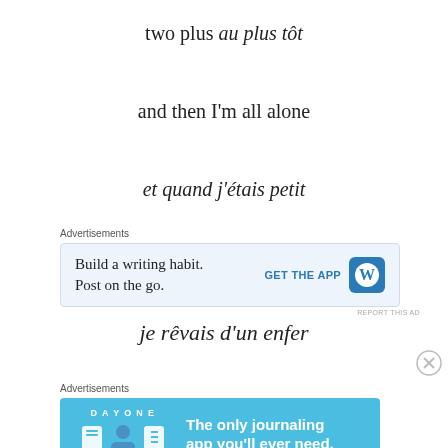two plus au plus tôt
and then I'm all alone
et quand j'étais petit
[Figure (other): WordPress advertisement: Build a writing habit. Post on the go. GET THE APP with WordPress logo]
je rêvais d'un enfer
[Figure (other): Day One journaling app advertisement: The only journaling app you'll ever need.]